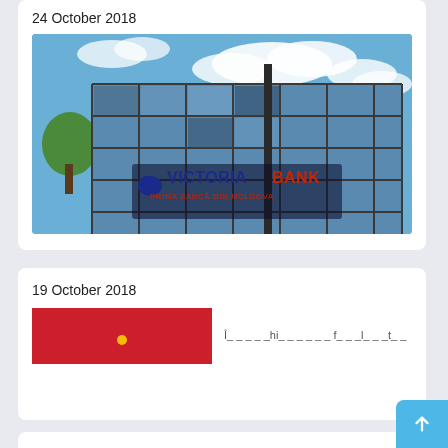24 October 2018
[Figure (photo): Victoriabank building exterior with logo reading 'VICTORIABANK - Prima Bancă din Moldova' on a glass facade building against a blue sky with clouds]
19 October 2018
[Figure (photo): Red banner/logo image (partially visible) alongside blurred text preview]